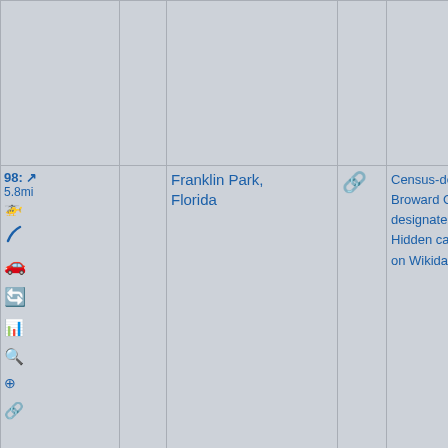| Actions/Info | Name | Link | Categories | Photo |
| --- | --- | --- | --- | --- |
| 98: 5.8mi [icons] | Franklin Park, Florida | 🔗 | Census-designated places in Broward County, Florida, Census-designated places in Florida, Hidden categories:, Coordinates on Wikidata, |  |
| 99: 5.8mi [icons] | Bryan Building | 🔗 | National Register of Historic Places in Broward County, Florida, Buildings and struc-tures in Fort Lauderdale | [photo of brick building] |
[Figure (photo): Exterior photo of the Bryan Building, a two-story historic brick building with awnings on the ground floor and palm trees visible, located in Fort Lauderdale, Florida.]